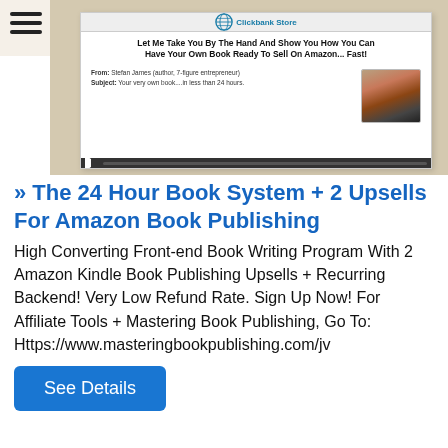[Figure (screenshot): Screenshot of a Clickbank Store webpage for The 24 Hour Book System, showing headline 'Let Me Take You By The Hand And Show You How You Can Have Your Own Book Ready To Sell On Amazon... Fast!' with a photo of Stefan James (author, 7-figure entrepreneur) and text about the subject being 'Your very own book...in less than 24 hours.']
» The 24 Hour Book System + 2 Upsells For Amazon Book Publishing
High Converting Front-end Book Writing Program With 2 Amazon Kindle Book Publishing Upsells + Recurring Backend! Very Low Refund Rate. Sign Up Now! For Affiliate Tools + Mastering Book Publishing, Go To: Https://www.masteringbookpublishing.com/jv
See Details